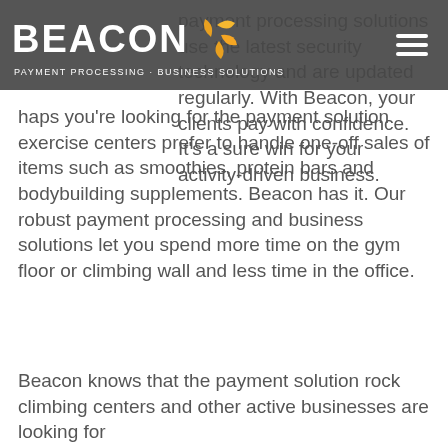[Figure (logo): Beacon Payment Processing - Business Solutions logo with orange flame/star icon and hamburger menu icon on dark grey header bar]
payment processing solutions use the latest security technology and are updated regularly. With Beacon, your clients pay with confidence. It's a sure win for your activity-driven business.
haps you're looking for the payment solution exercise centers prefer to handle one-off sales of items such as smoothies, protein bars and bodybuilding supplements. Beacon has it. Our robust payment processing and business solutions let you spend more time on the gym floor or climbing wall and less time in the office.
Beacon knows that the payment solution rock climbing centers and other active businesses are looking for